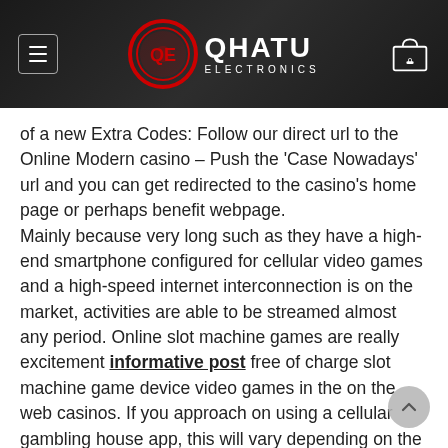QHATU ELECTRONICS
of a new Extra Codes: Follow our direct url to the Online Modern casino – Push the 'Case Nowadays' url and you can get redirected to the casino's home page or perhaps benefit webpage.
Mainly because very long such as they have a high-end smartphone configured for cellular video games and a high-speed internet interconnection is on the market, activities are able to be streamed almost any period. Online slot machine games are really excitement informative post free of charge slot machine game device video games in the on the web casinos. If you approach on using a cellular gambling house app, this will vary depending on the